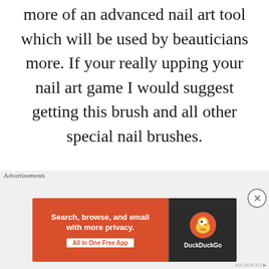more of an advanced nail art tool which will be used by beauticians more. If your really upping your nail art game I would suggest getting this brush and all other special nail brushes.
Nail art pens – These are the newest kids on the block, they are basically designed like pens so you can draw like
[Figure (other): DuckDuckGo advertisement banner with orange left panel reading 'Search, browse, and email with more privacy. All in One Free App' and dark right panel with DuckDuckGo duck logo and brand name.]